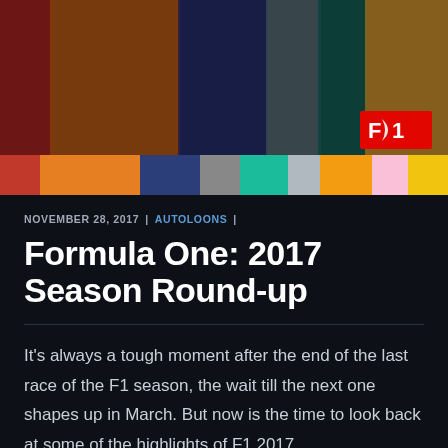[Figure (photo): Formula 1 banner photo showing team cars and personnel with colorful livery strips (red, orange, dark blue, gray, teal, yellow) and F1 logo in bottom right]
NOVEMBER 28, 2017 | AUTOLOONS |
Formula One: 2017 Season Round-up
It's always a tough moment after the end of the last race of the F1 season, the wait till the next one shapes up in March. But now is the time to look back at some of the highlights of F1 2017.